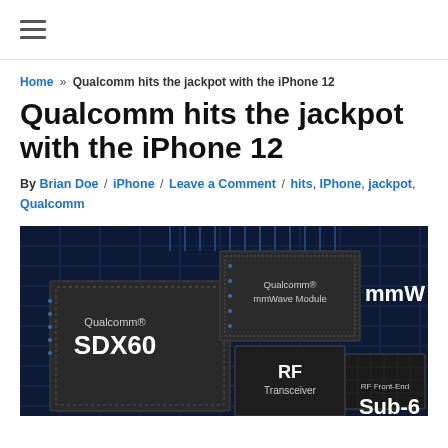≡ (hamburger menu)
Home » Qualcomm hits the jackpot with the iPhone 12
Qualcomm hits the jackpot with the iPhone 12
By Brian Doe / iPhone / Leave a Comment / hits, IPhone, jackpot, Qualcomm
[Figure (photo): Qualcomm chips including SDX60, mmWave Module, RF Transceiver, RF Front-End, and Sub-6 module on a dark blue circuit board background]